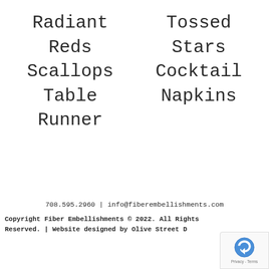Radiant Reds Scallops Table Runner
Tossed Stars Cocktail Napkins
708.595.2960 | info@fiberembellishments.com
Copyright Fiber Embellishments © 2022. All Rights Reserved. | Website designed by Olive Street D
[Figure (other): reCAPTCHA Privacy - Terms badge in bottom right corner]